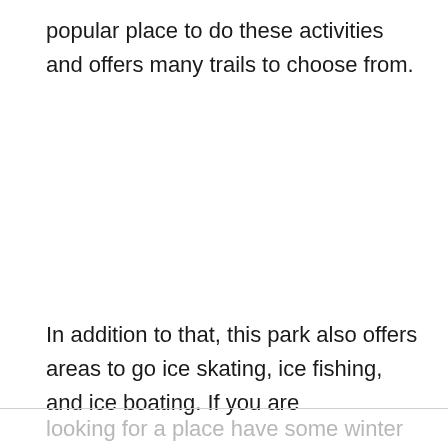popular place to do these activities and offers many trails to choose from.
In addition to that, this park also offers areas to go ice skating, ice fishing, and ice boating. If you are looking for a place have some winter fun, this is the place to be!